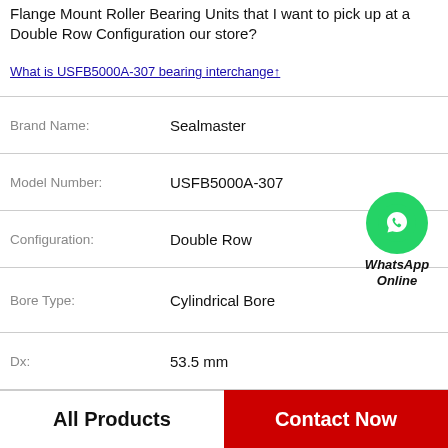Flange Mount Roller Bearing Units that I want to pick up at a Double Row Configuration our store?
What is USFB5000A-307 bearing interchange↑
| Property | Value |
| --- | --- |
| Brand Name: | Sealmaster |
| Model Number: | USFB5000A-307 |
| Configuration: | Double Row |
| Bore Type: | Cylindrical Bore |
| Dx: | 53.5 mm |
| d: | 17 mm |
| da: | 23 mm41 mm |
| Weight: | 0.140 kg |
[Figure (logo): WhatsApp Online green circle phone icon with WhatsApp Online label]
All Products   Contact Now